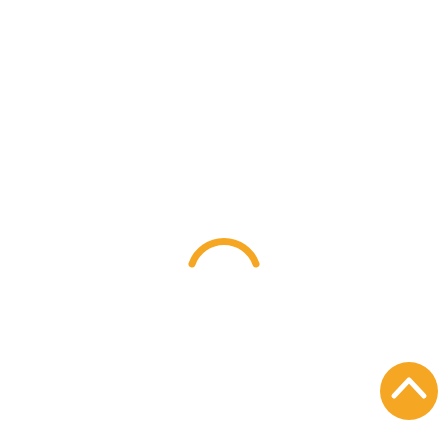[Figure (other): Loading spinner arc — a partial arc in golden/amber color (#F5A623), representing a loading indicator or spinner animation element.]
[Figure (other): Back-to-top button — a circular golden/amber button with a white chevron/caret pointing upward, positioned in the lower-right corner.]